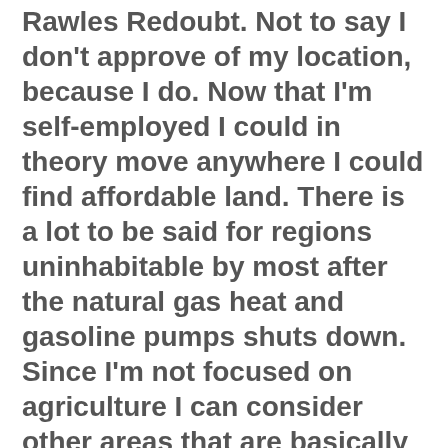Rawles Redoubt.  Not to say I don't approve of my location, because I do.  Now that I'm self-employed I could in theory move anywhere I could find affordable land.  There is a lot to be said for regions uninhabitable by most after the natural gas heat and gasoline pumps shuts down.  Since I'm not focused on agriculture I can consider other areas that are basically moats to protect me.  But there is always that Siren call trying to beckon me back to the lush mountain east.  I see the attraction.
*
The southeast seems to be home to a lot